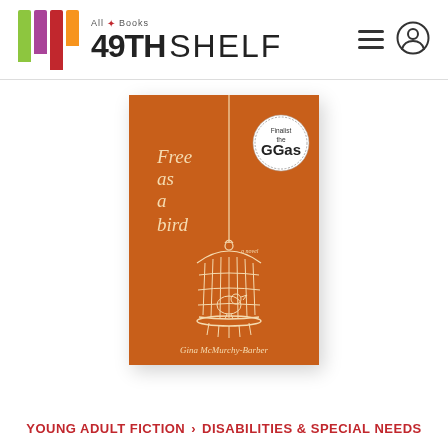All Books 49TH SHELF
[Figure (photo): Book cover of 'Free as a Bird: a novel' by Gina McMurchy-Barber. Orange background with white line-drawing of a bird in a hanging cage. Circular badge reads 'Finalist the GGAs'.]
YOUNG ADULT FICTION > DISABILITIES & SPECIAL NEEDS